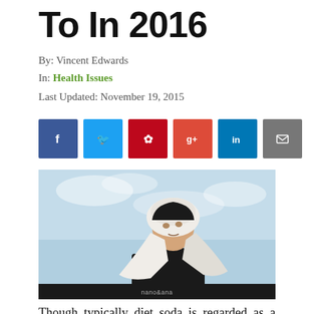To In 2016
By: Vincent Edwards
In: Health Issues
Last Updated: November 19, 2015
[Figure (other): Social sharing buttons: Facebook, Twitter, Pinterest, Google+, LinkedIn, Email]
[Figure (photo): A woman wearing a white headscarf and black top, looking upward against a light blue sky background. A watermark reads 'nono&ana' at the bottom.]
Though typically diet soda is regarded as a weight conscious